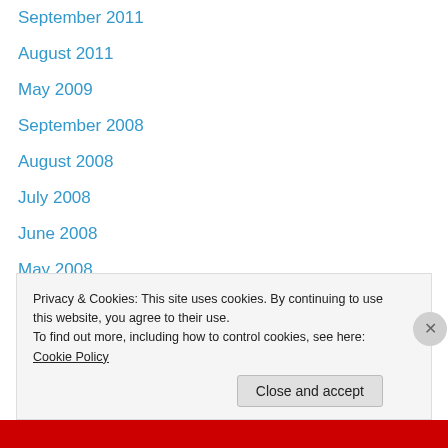September 2011
August 2011
May 2009
September 2008
August 2008
July 2008
June 2008
May 2008
March 2008
February 2008
January 2008
December 2007
November 2007
Privacy & Cookies: This site uses cookies. By continuing to use this website, you agree to their use.
To find out more, including how to control cookies, see here: Cookie Policy
Close and accept